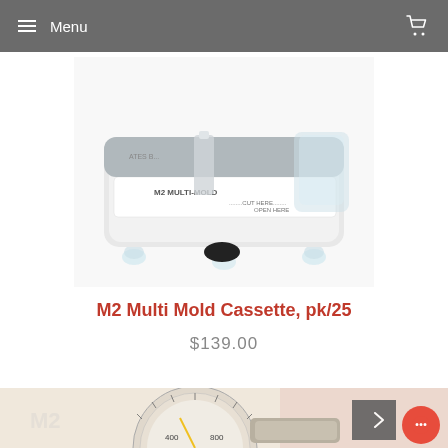Menu
[Figure (photo): Close-up photograph of an M2 Multi-Mold cassette device, white plastic with clear feet, labeled 'M2 MULTI-MOLD' with 'CUT HERE' and 'OPEN HERE' dotted lines]
M2 Multi Mold Cassette, pk/25
$139.00
[Figure (photo): Photograph of a goniometer instrument showing a circular measurement dial with markings including 400 and 800, metallic silver finish, on a beige/cream background]